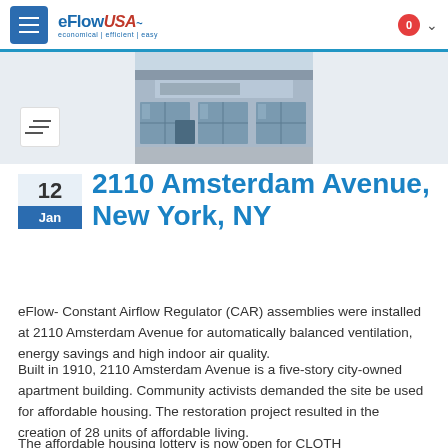eFlowUSA — navigation header with menu button, logo, cart badge
[Figure (photo): Exterior facade of a building at 2110 Amsterdam Avenue, New York — glass storefront doors and windows]
2110 Amsterdam Avenue, New York, NY
12 Jan
eFlow- Constant Airflow Regulator (CAR) assemblies were installed at 2110 Amsterdam Avenue for automatically balanced ventilation, energy savings and high indoor air quality.
Built in 1910, 2110 Amsterdam Avenue is a five-story city-owned apartment building. Community activists demanded the site be used for affordable housing. The restoration project resulted in the creation of 28 units of affordable living.
The affordable housing lottery is now open for CLOTH